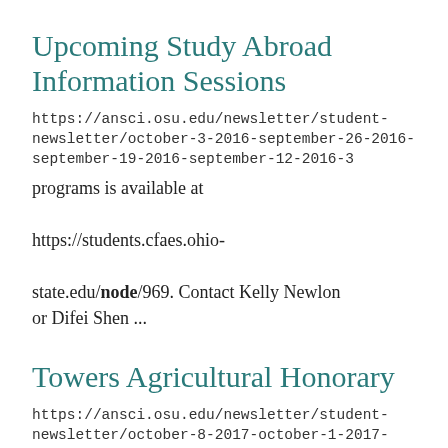Upcoming Study Abroad Information Sessions
https://ansci.osu.edu/newsletter/student-newsletter/october-3-2016-september-26-2016-september-19-2016-september-12-2016-3
programs is available at https://students.cfaes.ohio-state.edu/node/969. Contact Kelly Newlon or Difei Shen ...
Towers Agricultural Honorary
https://ansci.osu.edu/newsletter/student-newsletter/october-8-2017-october-1-2017-september-24th-2017-september-17th-14
https://students.cfaes.ohio-state.edu/node/1384. Once completed